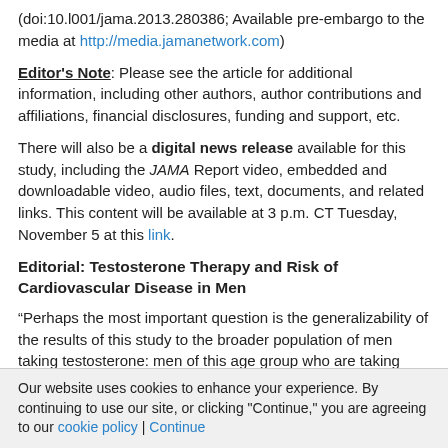(doi:10.l001/jama.2013.280386; Available pre-embargo to the media at http://media.jamanetwork.com)
Editor's Note: Please see the article for additional information, including other authors, author contributions and affiliations, financial disclosures, funding and support, etc.
There will also be a digital news release available for this study, including the JAMA Report video, embedded and downloadable video, audio files, text, documents, and related links. This content will be available at 3 p.m. CT Tuesday, November 5 at this link.
Editorial: Testosterone Therapy and Risk of Cardiovascular Disease in Men
“Perhaps the most important question is the generalizability of the results of this study to the broader population of men taking testosterone: men of this age group who are taking testosterone for ‘low T syndrome’ or for antiaging purposes and younger men taking it for physical enhancement,” writes Anne R. Cappola,
Our website uses cookies to enhance your experience. By continuing to use our site, or clicking "Continue," you are agreeing to our cookie policy | Continue